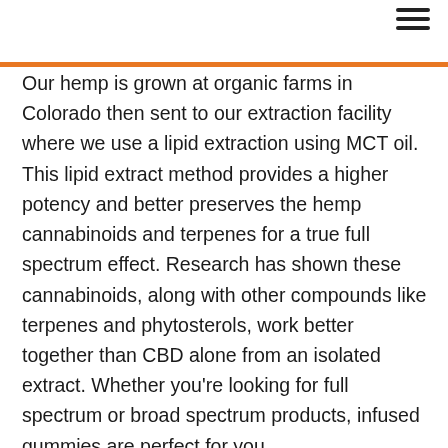≡
Our hemp is grown at organic farms in Colorado then sent to our extraction facility where we use a lipid extraction using MCT oil. This lipid extract method provides a higher potency and better preserves the hemp cannabinoids and terpenes for a true full spectrum effect. Research has shown these cannabinoids, along with other compounds like terpenes and phytosterols, work better together than CBD alone from an isolated extract. Whether you're looking for full spectrum or broad spectrum products, infused gummies are perfect for you.
From the hemp seeds, to processing, and then bottling – our CBD Oil is proudly made in the USA. No, this product contains no THC and has no mind altering effects. Electronic versions of our publications are provided as a courtesy to facilitate timely dissemination of academic work for individual, noncommercial